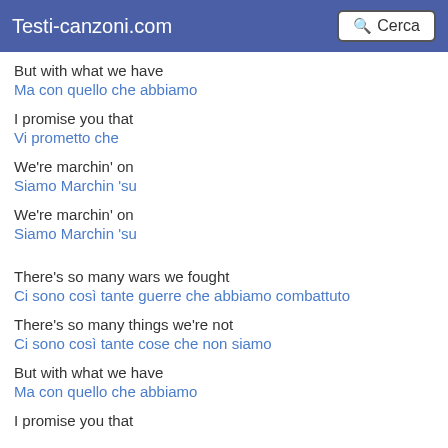Testi-canzoni.com  Cerca
But with what we have
Ma con quello che abbiamo
I promise you that
Vi prometto che
We're marchin' on
Siamo Marchin 'su
We're marchin' on
Siamo Marchin 'su
There's so many wars we fought
Ci sono così tante guerre che abbiamo combattuto
There's so many things we're not
Ci sono così tante cose che non siamo
But with what we have
Ma con quello che abbiamo
I promise you that